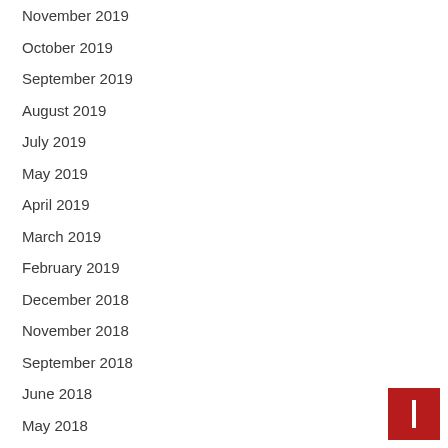November 2019
October 2019
September 2019
August 2019
July 2019
May 2019
April 2019
March 2019
February 2019
December 2018
November 2018
September 2018
June 2018
May 2018